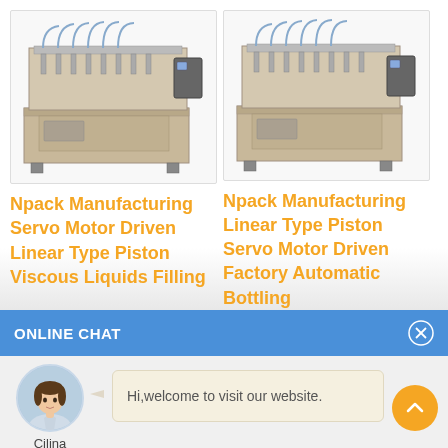[Figure (photo): Industrial piston filling machine, stainless steel, linear type with multiple nozzles]
Npack Manufacturing Servo Motor Driven Linear Type Piston Viscous Liquids Filling
[Figure (photo): Industrial piston filling machine, stainless steel, linear type with multiple nozzles]
Npack Manufacturing Linear Type Piston Servo Motor Driven Factory Automatic Bottling
ONLINE CHAT
[Figure (photo): Customer service avatar, woman named Cilina]
Hi,welcome to visit our website.
Cilina